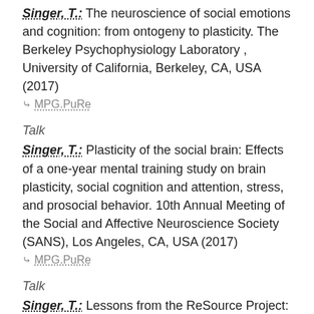Singer, T.: The neuroscience of social emotions and cognition: from ontogeny to plasticity. The Berkeley Psychophysiology Laboratory , University of California, Berkeley, CA, USA (2017)
MPG.PuRe
Talk
Singer, T.: Plasticity of the social brain: Effects of a one-year mental training study on brain plasticity, social cognition and attention, stress, and prosocial behavior. 10th Annual Meeting of the Social and Affective Neuroscience Society (SANS), Los Angeles, CA, USA (2017)
MPG.PuRe
Talk
Singer, T.: Lessons from the ReSource Project: Effects of a one-year mental training study on brain plasticity, compassion, perspective taking, attention, stress